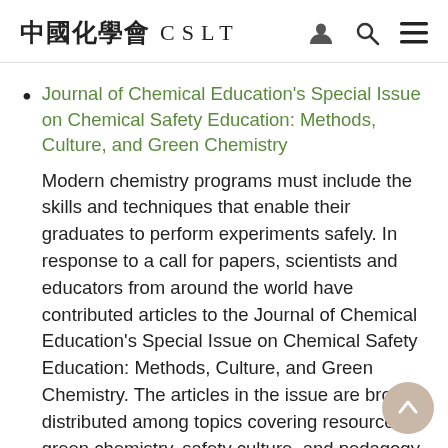中國化學會 C S L T
Journal of Chemical Education's Special Issue on Chemical Safety Education: Methods, Culture, and Green Chemistry
Modern chemistry programs must include the skills and techniques that enable their graduates to perform experiments safely. In response to a call for papers, scientists and educators from around the world have contributed articles to the Journal of Chemical Education's Special Issue on Chemical Safety Education: Methods, Culture, and Green Chemistry. The articles in the issue are broadly distributed among topics covering resources, green chemistry, safety culture, and pedagogy. This issue is a resource for ideas and discussion to encourage "a new way to look at safety", with a focus on assessing hazards,